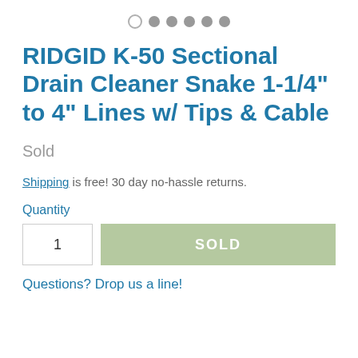[Figure (other): Carousel navigation dots: one empty circle and five filled gray circles]
RIDGID K-50 Sectional Drain Cleaner Snake 1-1/4" to 4" Lines w/ Tips & Cable
Sold
Shipping is free! 30 day no-hassle returns.
Quantity
1
SOLD
Questions? Drop us a line!